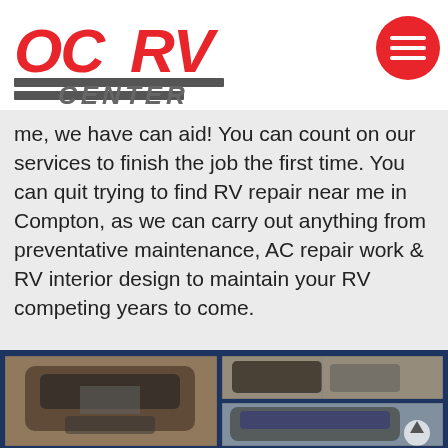[Figure (logo): OC RV Center logo with red stylized letters and gray striped bar with 'CENTER' text, plus red circular hamburger menu button in top right]
me, we have can aid! You can count on our services to finish the job the first time. You can quit trying to find RV repair near me in Compton, as we can carry out anything from preventative maintenance, AC repair work & RV interior design to maintain your RV competing years to come.
[Figure (photo): RV repair shop photos showing damaged motorhomes being repaired in a workshop, with fire/collision damage visible on multiple vehicles]
[Figure (photo): Damaged RV viewed from front in workshop with ladder nearby]
[Figure (photo): RV front view showing damage, partially visible at bottom right]